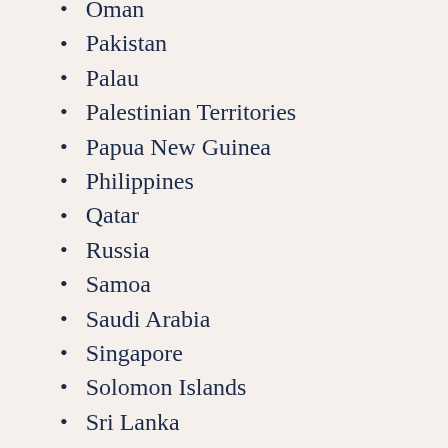Oman
Pakistan
Palau
Palestinian Territories
Papua New Guinea
Philippines
Qatar
Russia
Samoa
Saudi Arabia
Singapore
Solomon Islands
Sri Lanka
Syria
Taiwan
Tadjikistan